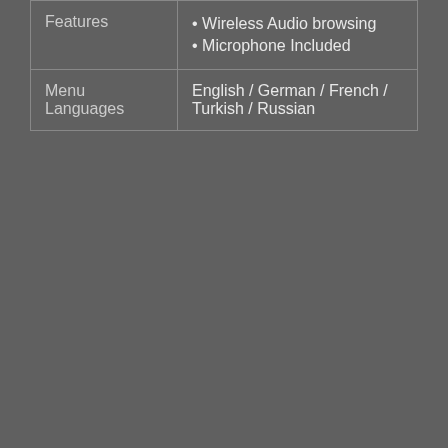| Features | • Wireless Audio browsing
• Microphone Included |
| Menu Languages | English / German / French / Turkish / Russian |